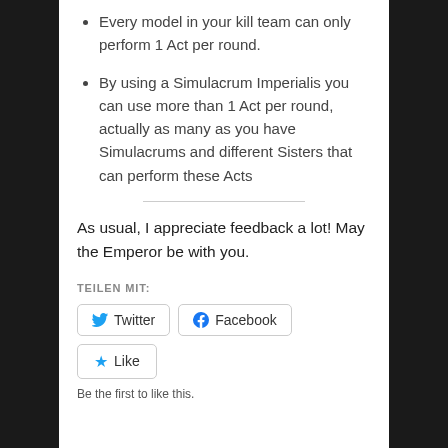Every model in your kill team can only perform 1 Act per round.
By using a Simulacrum Imperialis you can use more than 1 Act per round, actually as many as you have Simulacrums and different Sisters that can perform these Acts
As usual, I appreciate feedback a lot! May the Emperor be with you.
TEILEN MIT:
Twitter  Facebook
Like
Be the first to like this.